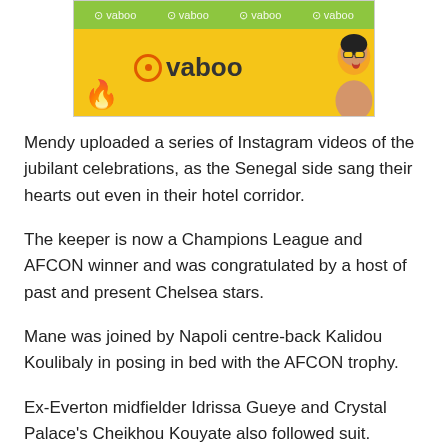[Figure (advertisement): Vaboo advertisement banner with green watermark bar showing repeated 'vaboo' text, yellow background, Ovaboo logo, decorative red element, and a woman with glasses on the right side.]
Mendy uploaded a series of Instagram videos of the jubilant celebrations, as the Senegal side sang their hearts out even in their hotel corridor.
The keeper is now a Champions League and AFCON winner and was congratulated by a host of past and present Chelsea stars.
Mane was joined by Napoli centre-back Kalidou Koulibaly in posing in bed with the AFCON trophy.
Ex-Everton midfielder Idrissa Gueye and Crystal Palace's Cheikhou Kouyate also followed suit.